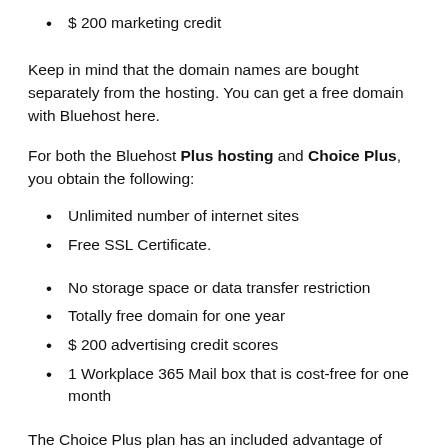$ 200 marketing credit
Keep in mind that the domain names are bought separately from the hosting. You can get a free domain with Bluehost here.
For both the Bluehost Plus hosting and Choice Plus, you obtain the following:
Unlimited number of internet sites
Free SSL Certificate.
No storage space or data transfer restriction
Totally free domain for one year
$ 200 advertising credit scores
1 Workplace 365 Mail box that is cost-free for one month
The Choice Plus plan has an included advantage of Code Guard Basic Alternative, a back-up system where your file is conserved and duplicated. If any type of crash takes place and also your...